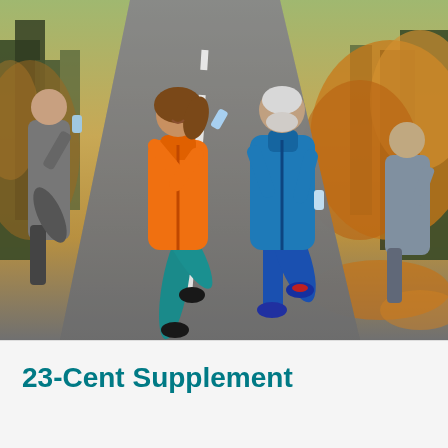[Figure (photo): Group of people running together on an outdoor road through an autumn park. A woman in an orange jacket and teal leggings is in the foreground with arms raised joyfully. A man in a blue tracksuit runs beside her. Other runners are visible on the sides. The road has white dashed lane markings. Trees with autumn foliage line the path.]
23-Cent Supplement